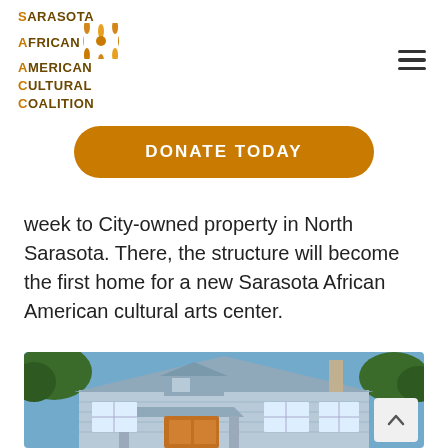[Figure (logo): Sarasota African American Cultural Coalition logo with sunburst graphic and stacked text]
DONATE TODAY
week to City-owned property in North Sarasota. There, the structure will become the first home for a new Sarasota African American cultural arts center.
[Figure (photo): Exterior photo of a light blue/grey historic cottage-style building with a pitched roof, dormer vent, chimney, and covered entrance porch, surrounded by trees under a blue sky.]